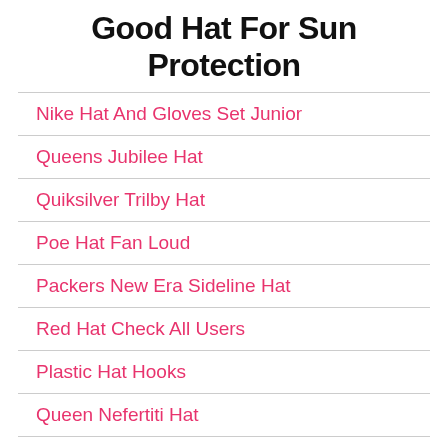Good Hat For Sun Protection
Nike Hat And Gloves Set Junior
Queens Jubilee Hat
Quiksilver Trilby Hat
Poe Hat Fan Loud
Packers New Era Sideline Hat
Red Hat Check All Users
Plastic Hat Hooks
Queen Nefertiti Hat
Puma Hat Size Chart
Pokemon Vintage Hat
Nike Open Back Visor Hat Black